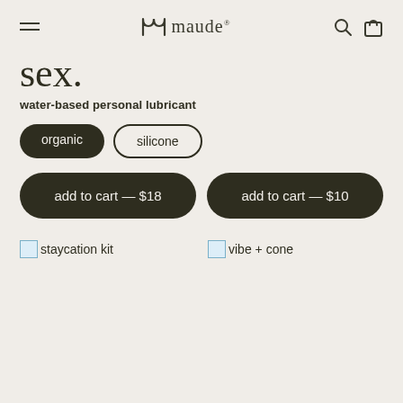maude
sex.
water-based personal lubricant
organic
silicone
add to cart — $18
add to cart — $10
[Figure (other): staycation kit product image placeholder]
staycation kit
[Figure (other): vibe + cone product image placeholder]
vibe + cone